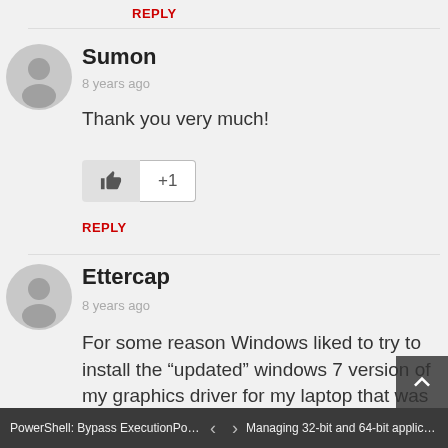REPLY
[Figure (illustration): User avatar placeholder circle with person silhouette icon for Sumon]
Sumon
8 years ago
Thank you very much!
[Figure (other): Like (thumbs up) button and +1 count button]
REPLY
[Figure (illustration): User avatar placeholder circle with person silhouette icon for Ettercap]
Ettercap
8 years ago
For some reason Windows liked to try to install the “updated” windows 7 version of my graphics driver for my laptop that was incompatible so every time it automatically updated I had to reinstall the windows 8.1 version of
PowerShell: Bypass ExecutionPoli... ‹ › Managing 32-bit and 64-bit applicat...